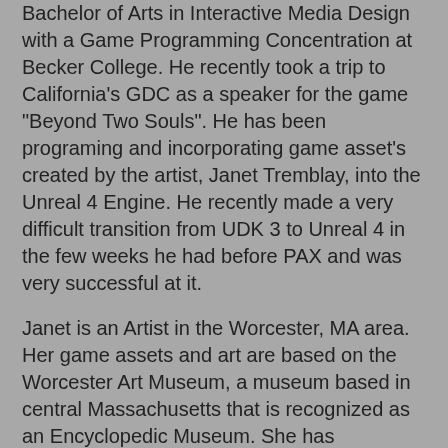Bachelor of Arts in Interactive Media Design with a Game Programming Concentration at Becker College. He recently took a trip to California's GDC as a speaker for the game "Beyond Two Souls". He has been programing and incorporating game asset's created by the artist, Janet Tremblay, into the Unreal 4 Engine. He recently made a very difficult transition from UDK 3 to Unreal 4 in the few weeks he had before PAX and was very successful at it.
Janet is an Artist in the Worcester, MA area. Her game assets and art are based on the Worcester Art Museum, a museum based in central Massachusetts that is recognized as an Encyclopedic Museum. She has volunteered her time and talents to this project to help Becker College and the Worcester Art Museum.
The Museum owns a large collection of art from many different cultures and time periods. The Virtual Museum Simulator is currently a work in progress. And this weekend at PAX was an experiment to see how the public would react to this kind of visual stimuli. Janet uses reference photos she has taken and interprets them into models in Autodesk Maya and creates textures using Photoshop.